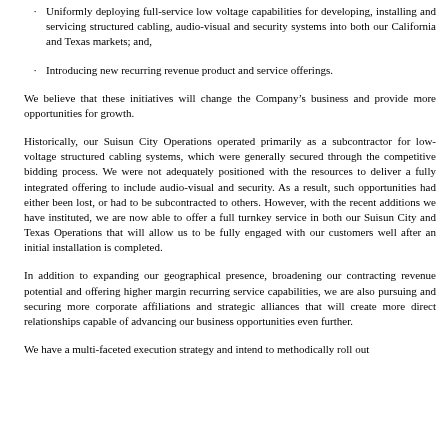Uniformly deploying full-service low voltage capabilities for developing, installing and servicing structured cabling, audio-visual and security systems into both our California and Texas markets; and,
Introducing new recurring revenue product and service offerings.
We believe that these initiatives will change the Company’s business and provide more opportunities for growth.
Historically, our Suisun City Operations operated primarily as a subcontractor for low-voltage structured cabling systems, which were generally secured through the competitive bidding process. We were not adequately positioned with the resources to deliver a fully integrated offering to include audio-visual and security. As a result, such opportunities had either been lost, or had to be subcontracted to others. However, with the recent additions we have instituted, we are now able to offer a full turnkey service in both our Suisun City and Texas Operations that will allow us to be fully engaged with our customers well after an initial installation is completed.
In addition to expanding our geographical presence, broadening our contracting revenue potential and offering higher margin recurring service capabilities, we are also pursuing and securing more corporate affiliations and strategic alliances that will create more direct relationships capable of advancing our business opportunities even further.
We have a multi-faceted execution strategy and intend to methodically roll out